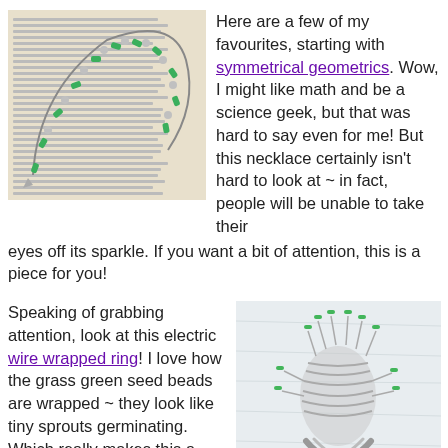[Figure (photo): Photo of a green beaded necklace with crystal/silver beads laid on an open book page]
Here are a few of my favourites, starting with symmetrical geometrics. Wow, I might like math and be a science geek, but that was hard to say even for me! But this necklace certainly isn't hard to look at ~ in fact, people will be unable to take their eyes off its sparkle. If you want a bit of attention, this is a piece for you!
Speaking of grabbing attention, look at this electric wire wrapped ring! I love how the grass green seed beads are wrapped ~ they look like tiny sprouts germinating. Which really makes this a great ring to wear into spring and summer!! What a great
[Figure (photo): Photo of a silver wire wrapped ring with green seed beads protruding like tiny sprouts, on a light fabric background]